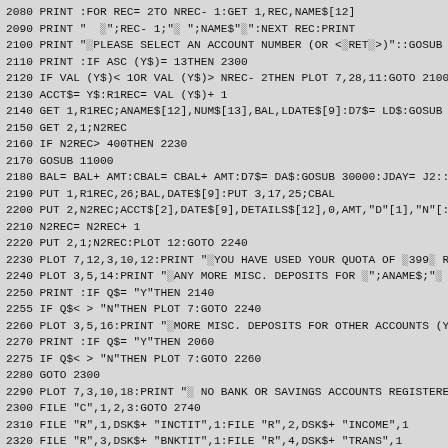2080 PRINT :FOR REC= 2TO NREC- 1:GET 1,REC,NAME$[12]
2090 PRINT "  ░";REC- 1;"░ ";NAME$"░":NEXT REC:PRINT
2100 PRINT "░PLEASE SELECT AN ACCOUNT NUMBER (OR <░RET░>)"::GOSUB
2110 PRINT :IF ASC (Y$)= 13THEN 2300
2120 IF VAL (Y$)< 1OR VAL (Y$)> NREC- 2THEN PLOT 7,28,11:GOTO 2100
2130 ACCT$= Y$:R1REC= VAL (Y$)+ 1
2140 GET 1,R1REC;ANAME$[12],NUM$[13],BAL,LDATE$[9]:D7$= LD$:GOSUB
2150 GET 2,1;N2REC
2160 IF N2REC> 400THEN 2230
2170 GOSUB 11000
2180 BAL= BAL+ AMT:CBAL= CBAL+ AMT:D7$= DA$:GOSUB 30000:JDAY= J2::
2190 PUT 1,R1REC,26;BAL,DATE$[9]:PUT 3,17,25;CBAL
2200 PUT 2,N2REC;ACCT$[2],DATE$[9],DETAILS$[12],0,AMT,"D"[1],"N"[:
2210 N2REC= N2REC+ 1
2220 PUT 2,1;N2REC:PLOT 12:GOTO 2240
2230 PLOT 7,12,3,10,12:PRINT "░YOU HAVE USED YOUR QUOTA OF ░399░ R
2240 PLOT 3,5,14:PRINT "░ANY MORE MISC. DEPOSITS FOR ░";ANAME$;"░
2250 PRINT :IF Q$= "Y"THEN 2140
2255 IF Q$< > "N"THEN PLOT 7:GOTO 2240
2260 PLOT 3,5,16:PRINT "░MORE MISC. DEPOSITS FOR OTHER ACCOUNTS (Y
2270 PRINT :IF Q$= "Y"THEN 2060
2275 IF Q$< > "N"THEN PLOT 7:GOTO 2260
2280 GOTO 2300
2290 PLOT 7,3,10,18:PRINT "░ NO BANK OR SAVINGS ACCOUNTS REGISTERE
2300 FILE "C",1,2,3:GOTO 2740
2310 FILE "R",1,DSK$+ "INCTIT",1:FILE "R",2,DSK$+ "INCOME",1
2320 FILE "R",3,DSK$+ "BNKTIT",1:FILE "R",4,DSK$+ "TRANS",1
2330 GET 1,1;NREC
2340 PLOT 12,3,1,1
2350 PRINT "░CURRENT░ INCOME ░ACCOUNTS ARE:░"